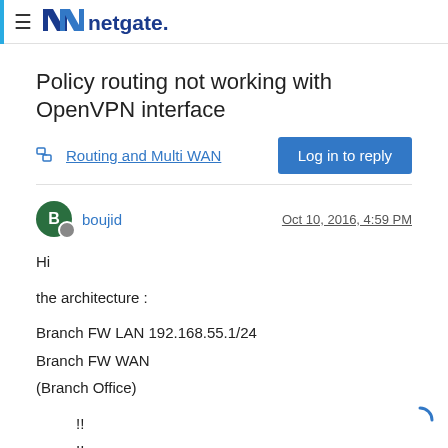netgate.
Policy routing not working with OpenVPN interface
Routing and Multi WAN | Log in to reply
boujid  Oct 10, 2016, 4:59 PM
Hi

the architecture :

Branch FW LAN 192.168.55.1/24
Branch FW WAN
(Branch Office)
    !!
    !!
    !!
    vv
(Headquarter)